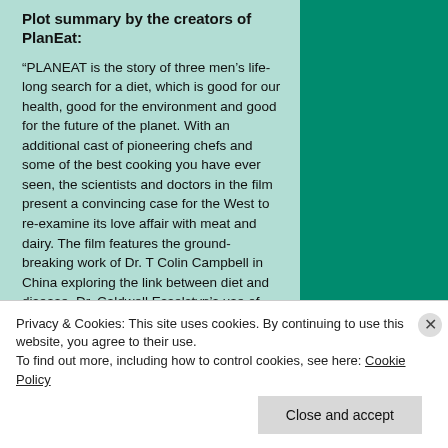Plot summary by the creators of PlanEat:
“PLANEAT is the story of three men’s life-long search for a diet, which is good for our health, good for the environment and good for the future of the planet. With an additional cast of pioneering chefs and some of the best cooking you have ever seen, the scientists and doctors in the film present a convincing case for the West to re-examine its love affair with meat and dairy. The film features the ground-breaking work of Dr. T Colin Campbell in China exploring the link between diet and disease, Dr. Caldwell Esselstyn’s use of diet to treat heart disease, and Professor Gib...
Privacy & Cookies: This site uses cookies. By continuing to use this website, you agree to their use.
To find out more, including how to control cookies, see here: Cookie Policy